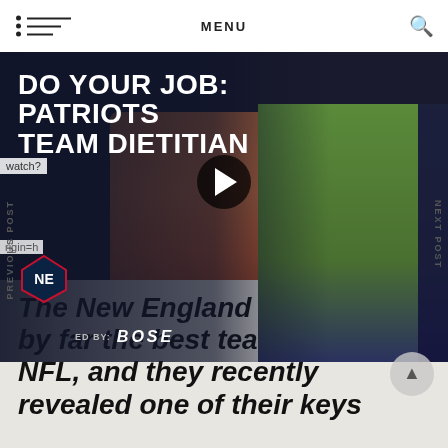MENU
[Figure (screenshot): New England Patriots 'Do Your Job: Patriots Team Dietitian' video thumbnail with play button, Patriots logo, and Presented by Bose branding. Shows salmon/fish and a man in Patriots shirt outdoors.]
watch?
rigin=h
PREVIOUS POST
NEXT POST
The New England Patriots are by far the best team in the NFL, and they recently revealed one of their keys